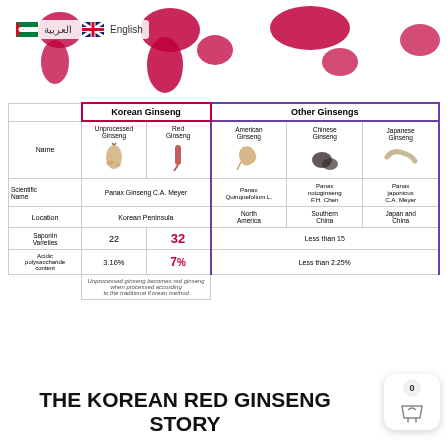[Figure (infographic): World map background in red showing global distribution, with Arabic and English language selector flags at top left]
|  | Korean Ginseng (Unprocessed Ginseng) | Korean Ginseng (Red Ginseng) | American Ginseng | Chinese Ginseng | Japanese Ginseng |
| --- | --- | --- | --- | --- | --- |
| Name | Unprocessed Ginseng | Red Ginseng | American Ginseng | Chinese Ginseng | Japanese Ginseng |
| Scientific Name | Panax Ginseng C.A. Meyer | Panax Ginseng C.A. Meyer | Panax Quinquefolium L. | Panax notoginseng F.H. Chen | Panax japonicus C.A. Meyer |
| Location | Korean Peninsula | Korean Peninsula | North America | Southern China | Japan and China |
| Saponin Varieties | 22 | 32 | Less than 15 | Less than 15 | Less than 15 |
| Acidic polysaccharide content | 3.16% | 7% | Less than 2.25% | Less than 2.25% | Less than 2.25% |
Unprocessed ginseng becomes red ginseng when processed according to the traditional Korean method
THE KOREAN RED GINSENG STORY